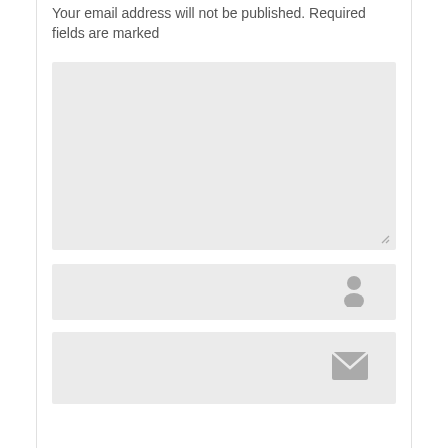Your email address will not be published. Required fields are marked
[Figure (screenshot): A large empty textarea input field with a resize handle in the bottom-right corner, light gray background]
[Figure (screenshot): A text input field for name with a gray person/user icon on the right side]
[Figure (screenshot): A text input field for email with a gray envelope/mail icon on the right side]